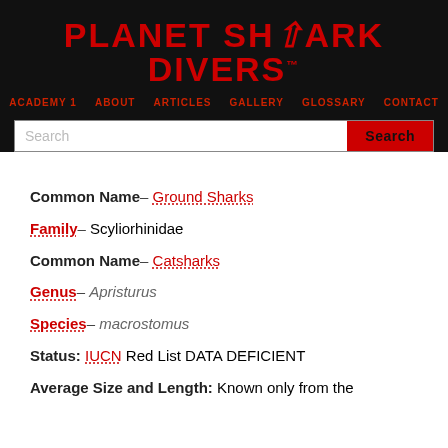PLANET SHARK DIVERS
ACADEMY 1  ABOUT  ARTICLES  GALLERY  GLOSSARY  CONTACT
Common Name – Ground Sharks
Family – Scyliorhinidae
Common Name – Catsharks
Genus – Apristurus
Species – macrostomus
Status: IUCN Red List DATA DEFICIENT
Average Size and Length: Known only from the